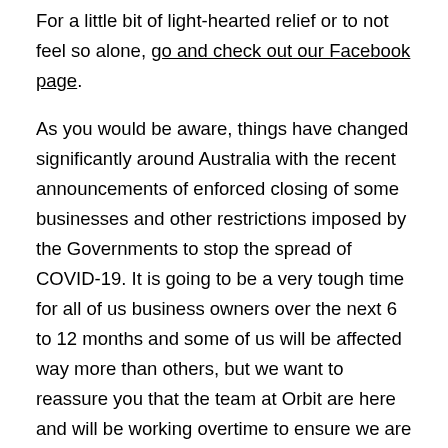For a little bit of light-hearted relief or to not feel so alone, go and check out our Facebook page. As you would be aware, things have changed significantly around Australia with the recent announcements of enforced closing of some businesses and other restrictions imposed by the Governments to stop the spread of COVID-19. It is going to be a very tough time for all of us business owners over the next 6 to 12 months and some of us will be affected way more than others, but we want to reassure you that the team at Orbit are here and will be working overtime to ensure we are supporting all of our clients.